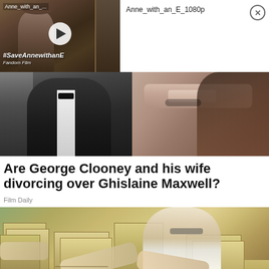[Figure (screenshot): Video thumbnail for 'Anne_with_an_E' with play button overlay, showing a scene from the show with #SaveAnnewithanE Fandom Film text]
Anne_with_an_E_1080p
[Figure (photo): Collage of celebrity photos showing people in formal wear, one in a tuxedo and another close-up of a woman]
Are George Clooney and his wife divorcing over Ghislaine Maxwell?
Film Daily
[Figure (photo): Photo of a person counting large stacks of US dollar bills on a table]